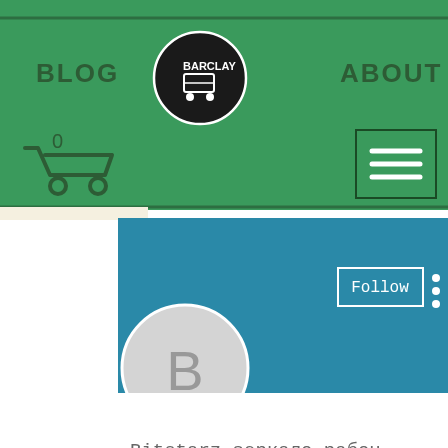[Figure (screenshot): Green navigation bar of a website showing BLOG on left, a circular logo in center, ABOUT on right, a shopping cart icon bottom-left, and a hamburger menu button bottom-right]
[Figure (screenshot): Blue profile header section of a social/blog platform with a Follow button and three-dot menu]
[Figure (illustration): Circular avatar with letter B on grey background]
Bitstarz зеркало рабоч…
0 Followers • 0 Following
Profile